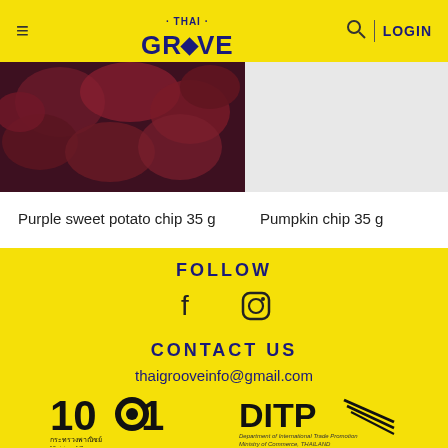[Figure (screenshot): Thai Groove website header with hamburger menu, Thai Groove logo, search icon and LOGIN text on yellow background]
[Figure (photo): Purple sweet potato chips product photo]
[Figure (photo): Pumpkin chip product area (empty/white)]
Purple sweet potato chip 35 g
Pumpkin chip 35 g
FOLLOW
[Figure (illustration): Facebook and Instagram social media icons]
CONTACT US
thaigrooveinfo@gmail.com
[Figure (logo): 101 Ministry of Commerce Thailand logo with Thai text กระทรวงพาณิชย์ Ministry of Commerce]
[Figure (logo): DITP logo - Department of International Trade Promotion, Ministry of Commerce, THAILAND]